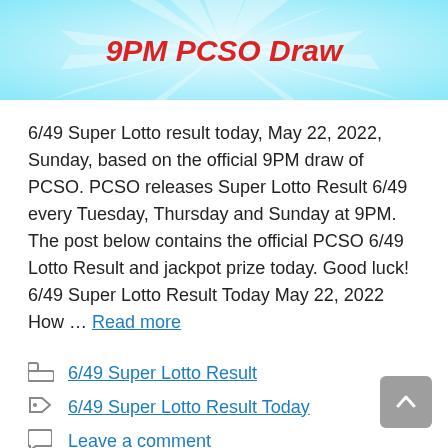[Figure (illustration): Banner with light blue ray burst background and bold red italic text reading '9PM PCSO Draw']
6/49 Super Lotto result today, May 22, 2022, Sunday, based on the official 9PM draw of PCSO. PCSO releases Super Lotto Result 6/49 every Tuesday, Thursday and Sunday at 9PM. The post below contains the official PCSO 6/49 Lotto Result and jackpot prize today. Good luck! 6/49 Super Lotto Result Today May 22, 2022 How … Read more
6/49 Super Lotto Result
6/49 Super Lotto Result Today
Leave a comment